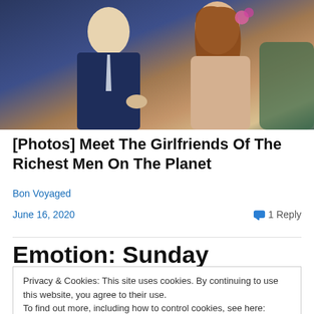[Figure (photo): Photo of a man in a dark navy suit with a light tie seated next to a woman with long auburn hair wearing a beige lace dress with a pink flower accessory]
[Photos] Meet The Girlfriends Of The Richest Men On The Planet
Bon Voyaged
June 16, 2020
1 Reply
Emotion: Sunday Philosophies
Privacy & Cookies: This site uses cookies. By continuing to use this website, you agree to their use.
To find out more, including how to control cookies, see here: Cookie Policy
Close and accept